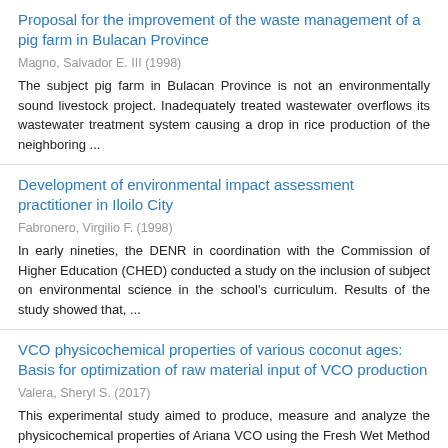Proposal for the improvement of the waste management of a pig farm in Bulacan Province
Magno, Salvador E. III (1998)
The subject pig farm in Bulacan Province is not an environmentally sound livestock project. Inadequately treated wastewater overflows its wastewater treatment system causing a drop in rice production of the neighboring ...
Development of environmental impact assessment practitioner in Iloilo City
Fabronero, Virgilio F. (1998)
In early nineties, the DENR in coordination with the Commission of Higher Education (CHED) conducted a study on the inclusion of subject on environmental science in the school's curriculum. Results of the study showed that, ...
VCO physicochemical properties of various coconut ages: Basis for optimization of raw material input of VCO production
Valera, Sheryl S. (2017)
This experimental study aimed to produce, measure and analyze the physicochemical properties of Ariana VCO using the Fresh Wet Method (Cold Process) in relation to coconut maturity using